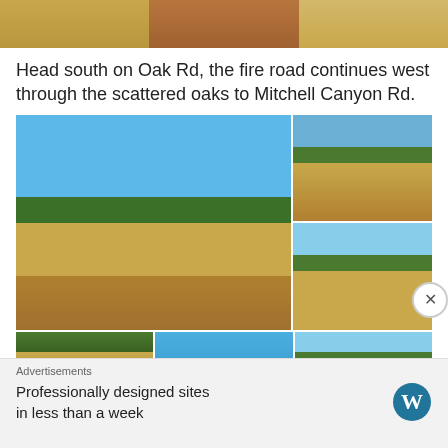[Figure (photo): Three landscape photos showing dry grassland and dirt road scenes at the top of the page]
Head south on Oak Rd, the fire road continues west through the scattered oaks to Mitchell Canyon Rd.
[Figure (photo): Grid of outdoor photos showing fire roads through dry California grasslands with oak trees and blue sky. Large left photo shows winding dirt road through golden grasses. Top right shows road with rocky hill. Bottom right shows fence post in field.]
[Figure (photo): Three more landscape photos at the bottom showing oak trees, blue sky, and grassland scenes]
Advertisements
Professionally designed sites in less than a week